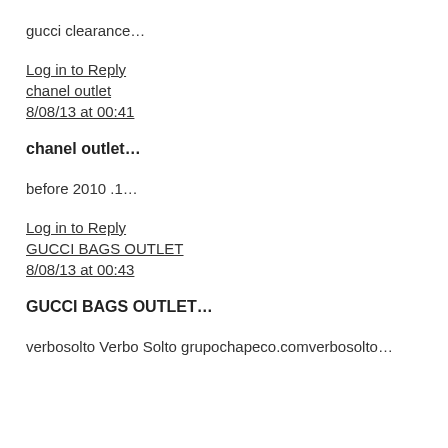gucci clearance…
Log in to Reply
chanel outlet
8/08/13 at 00:41
chanel outlet…
before 2010 .1…
Log in to Reply
GUCCI BAGS OUTLET
8/08/13 at 00:43
GUCCI BAGS OUTLET…
verbosolto Verbo Solto grupochapeco.comverbosolto…